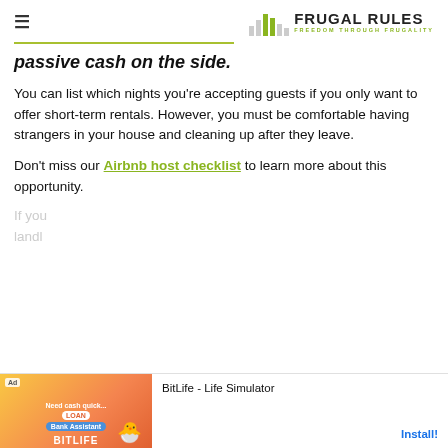FRUGAL RULES — FREEDOM THROUGH FRUGALITY
passive cash on the side.
You can list which nights you're accepting guests if you only want to offer short-term rentals. However, you must be comfortable having strangers in your house and cleaning up after they leave.
Don't miss our Airbnb host checklist to learn more about this opportunity.
[Figure (screenshot): BitLife - Life Simulator ad banner at bottom of page]